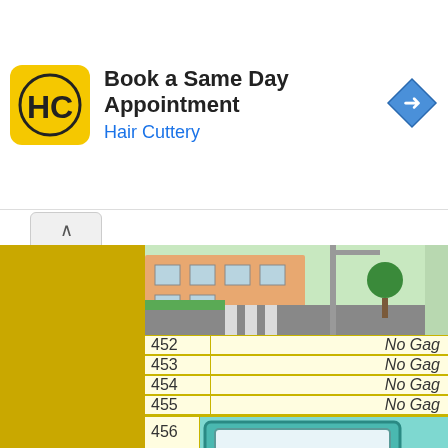[Figure (screenshot): Hair Cuttery advertisement banner: 'Book a Same Day Appointment' with Hair Cuttery logo and navigation arrow icon]
[Figure (screenshot): Animated scene showing a building with crosswalk (top right)]
| # | Gag |
| --- | --- |
| 452 | No Gag |
| 453 | No Gag |
| 454 | No Gag |
| 455 | No Gag |
| 456 |  |
[Figure (screenshot): Dr. Nick's Home of the One Hour sign from animated show]